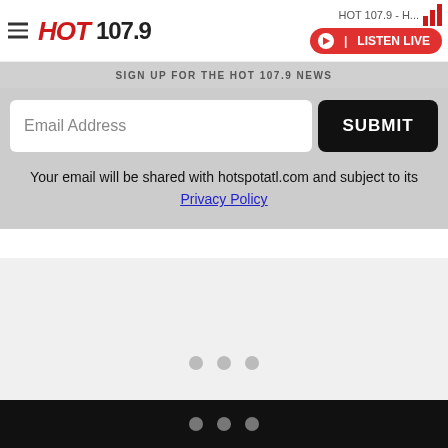HOT 107.9 - H...
[Figure (logo): HOT 107.9 radio station logo with hamburger menu icon]
SIGN UP FOR THE HOT 107.9 NEWS
Email Address
SUBMIT
Your email will be shared with hotspotatl.com and subject to its Privacy Policy
• • •